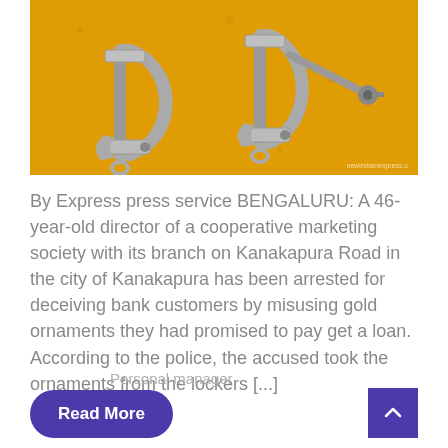[Figure (photo): Two metal handcuffs photographed against a bright yellow/mustard textured background. Watermark text 'newindianexpress.c' visible in bottom right corner.]
By Express press service BENGALURU: A 46-year-old director of a cooperative marketing society with its branch on Kanakapura Road in the city of Kanakapura has been arrested for deceiving bank customers by misusing gold ornaments they had promised to pay get a loan. According to the police, the accused took the ornaments from the lockers [...]
Personal manager
Read More